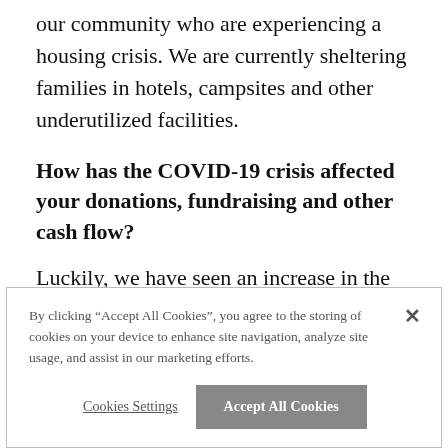our community who are experiencing a housing crisis. We are currently sheltering families in hotels, campsites and other underutilized facilities.
How has the COVID-19 crisis affected your donations, fundraising and other cash flow?
Luckily, we have seen an increase in the community coming together to support
By clicking “Accept All Cookies”, you agree to the storing of cookies on your device to enhance site navigation, analyze site usage, and assist in our marketing efforts.
Cookies Settings
Accept All Cookies